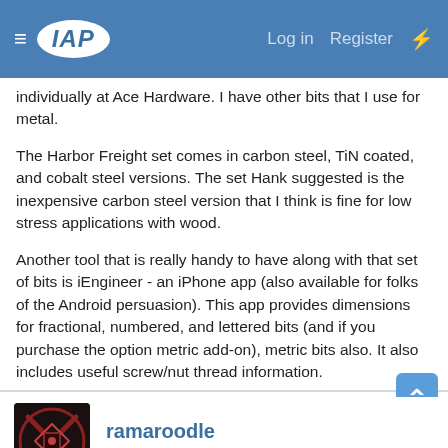IAP | Log in | Register
individually at Ace Hardware. I have other bits that I use for metal.
The Harbor Freight set comes in carbon steel, TiN coated, and cobalt steel versions. The set Hank suggested is the inexpensive carbon steel version that I think is fine for low stress applications with wood.
Another tool that is really handy to have along with that set of bits is iEngineer - an iPhone app (also available for folks of the Android persuasion). This app provides dimensions for fractional, numbered, and lettered bits (and if you purchase the option metric add-on), metric bits also. It also includes useful screw/nut thread information.
Last edited: Sep 28, 2018
ramaroodle
Member